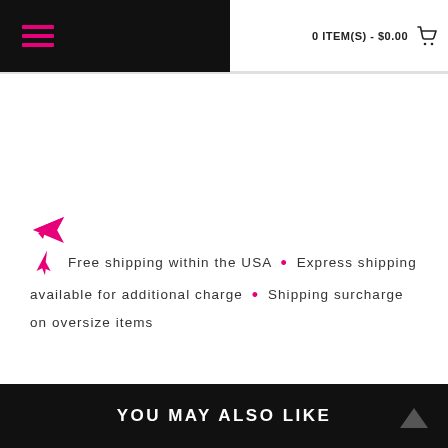0 ITEM(S) - $0.00
Free shipping within the USA  •  Express shipping available for additional charge  •  Shipping surcharge on oversize items
YOU MAY ALSO LIKE